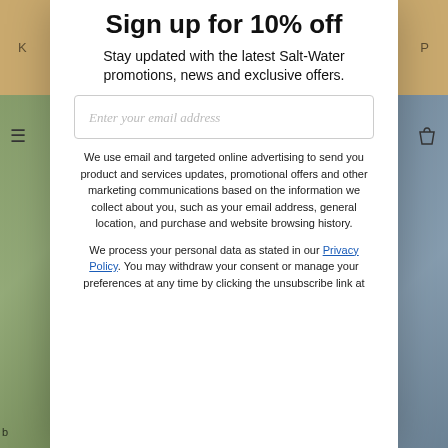Sign up for 10% off
Stay updated with the latest Salt-Water promotions, news and exclusive offers.
Enter your email address
We use email and targeted online advertising to send you product and services updates, promotional offers and other marketing communications based on the information we collect about you, such as your email address, general location, and purchase and website browsing history.
We process your personal data as stated in our Privacy Policy. You may withdraw your consent or manage your preferences at any time by clicking the unsubscribe link at